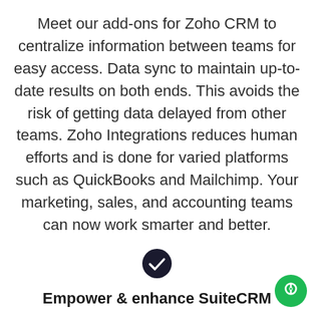Meet our add-ons for Zoho CRM to centralize information between teams for easy access. Data sync to maintain up-to-date results on both ends. This avoids the risk of getting data delayed from other teams. Zoho Integrations reduces human efforts and is done for varied platforms such as QuickBooks and Mailchimp. Your marketing, sales, and accounting teams can now work smarter and better.
[Figure (illustration): Dark circular badge with a white checkmark icon inside]
Empower & enhance SuiteCRM functions using our Extensions
Automating business operations is all every organization wants now. Making teams' jobs sim for the set the state data. Share and
[Figure (illustration): Green chat bubble / live chat widget button in bottom right corner]